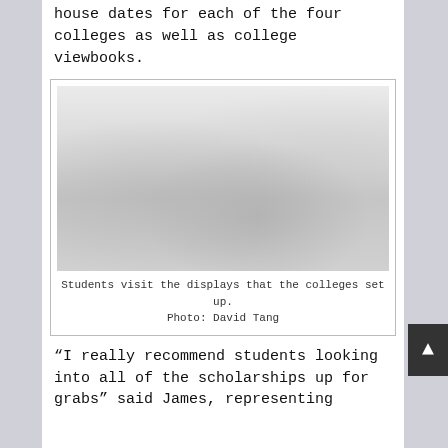house dates for each of the four colleges as well as college viewbooks.
[Figure (photo): Faded black and white photograph showing students visiting displays set up by colleges. Multiple people visible in an indoor setting with display boards visible in the background.]
Students visit the displays that the colleges set up.
Photo: David Tang
“I really recommend students looking into all of the scholarships up for grabs” said James, representing